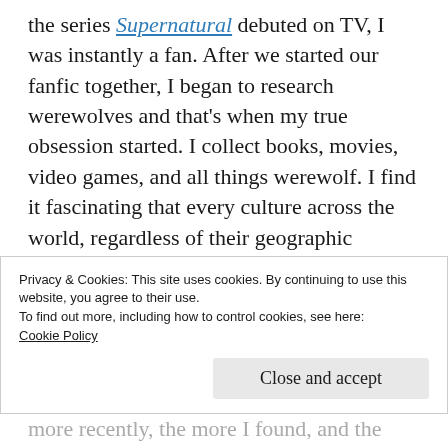the series Supernatural debuted on TV, I was instantly a fan. After we started our fanfic together, I began to research werewolves and that's when my true obsession started. I collect books, movies, video games, and all things werewolf. I find it fascinating that every culture across the world, regardless of their geographic location, has some version of a werewolf. There's so much folklore out there, and it varies by location, but every culture has their variation of a story where a man or woman turn
Privacy & Cookies: This site uses cookies. By continuing to use this website, you agree to their use.
To find out more, including how to control cookies, see here: Cookie Policy
Close and accept
more recently, the more I found, and the